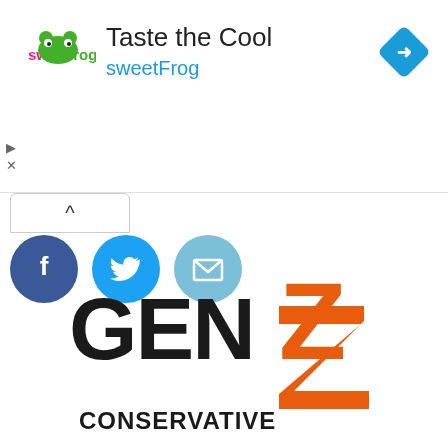[Figure (logo): sweetFrog ad banner with logo, 'Taste the Cool' title, 'sweetFrog' brand link, and blue diamond navigation arrow]
[Figure (infographic): Share bar with expand chevron button, Facebook circle icon, Twitter circle icon, and Email envelope circle icon]
[Figure (logo): Gen Z Conservative logo with bold black 'GEN' text, large orange 'Z', and 'CONSERVATIVE' text below]